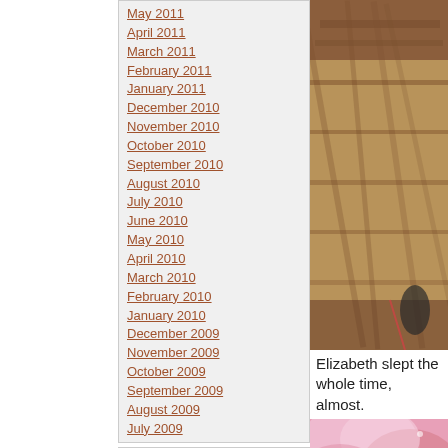May 2011
April 2011
March 2011
February 2011
January 2011
December 2010
November 2010
October 2010
September 2010
August 2010
July 2010
June 2010
May 2010
April 2010
March 2010
February 2010
January 2010
December 2009
November 2009
October 2009
September 2009
August 2009
July 2009
June 2009
May 2009
April 2009
March 2009
February 2009
January 2009
December 2008
November 2008
October 2008
September 2008
August 2008
July 2008
June 2008
May 2008
[Figure (photo): Photo of wooden deck/floor with a partial view of a person, warm brown tones]
Elizabeth slept the whole time, almost.
[Figure (photo): Close-up macro photo of pink/red flower petals with soft focus]